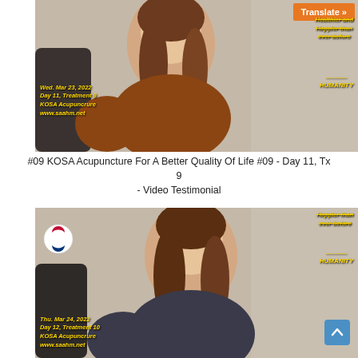[Figure (photo): Video thumbnail showing a woman seated, with yellow italic overlaid text: Wed. Mar 23, 2022 / Day 11, Treatment 9 / KOSA Acupuncrure / www.saahm.net on the lower left, and Healthier and Happier than ever before ... HUMANITY on the upper right. An orange Translate button is in the top right corner.]
#09 KOSA Acupuncture For A Better Quality Of Life #09 - Day 11, Tx 9 - Video Testimonial
[Figure (photo): Video thumbnail showing the same woman seated, with yellow italic overlaid text: Thu. Mar 24, 2022 / Day 12, Treatment 10 / KOSA Acupuncrure / www.saahm.net on the lower left, and Happier than ever before ... HUMANITY on the upper right. A Korean flag logo is in the top left. A blue scroll-to-top button is in the lower right.]